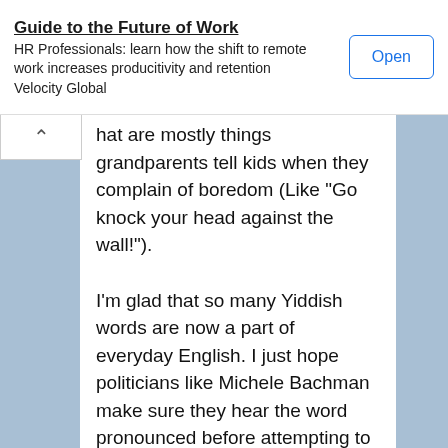[Figure (screenshot): Ad banner: Guide to the Future of Work. HR Professionals: learn how the shift to remote work increases productivity and retention Velocity Global. Open button.]
hat are mostly things grandparents tell kids when they complain of boredom (Like "Go knock your head against the wall!").
I'm glad that so many Yiddish words are now a part of everyday English. I just hope politicians like Michele Bachman make sure they hear the word pronounced before attempting to use it. Oh well... zei gezundt!
[Figure (screenshot): Share button area with light gray background]
10 comments: